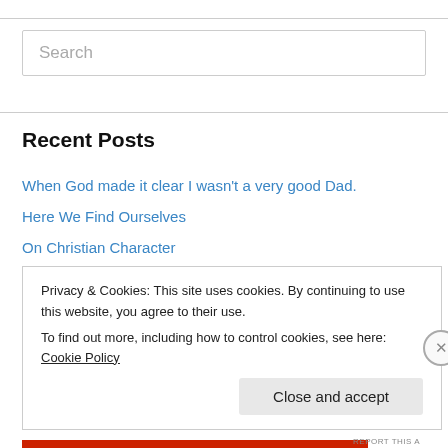[Figure (other): Search input box with placeholder text 'Search']
Recent Posts
When God made it clear I wasn't a very good Dad.
Here We Find Ourselves
On Christian Character
Freeze Frame
Divine Permanence and Our Doubts
Privacy & Cookies: This site uses cookies. By continuing to use this website, you agree to their use. To find out more, including how to control cookies, see here: Cookie Policy
Close and accept